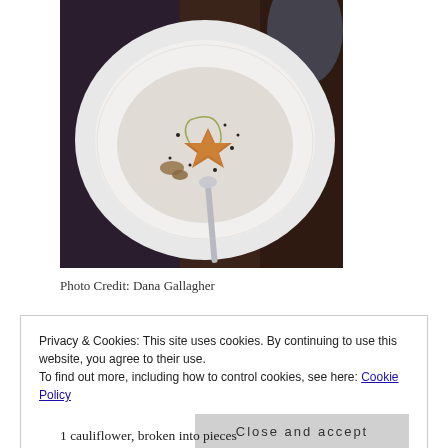[Figure (photo): A white bowl of creamy cauliflower soup garnished with a star-shaped crouton, chopped nuts, black pepper, and a drizzle of olive oil, with a silver spoon, on a dark background. Photo credit: Dana Gallagher.]
Photo Credit: Dana Gallagher
Privacy & Cookies: This site uses cookies. By continuing to use this website, you agree to their use.
To find out more, including how to control cookies, see here: Cookie Policy
Close and accept
1 cauliflower, broken into pieces